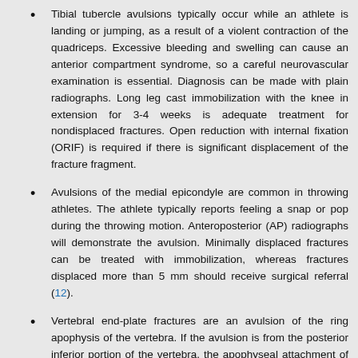Tibial tubercle avulsions typically occur while an athlete is landing or jumping, as a result of a violent contraction of the quadriceps. Excessive bleeding and swelling can cause an anterior compartment syndrome, so a careful neurovascular examination is essential. Diagnosis can be made with plain radiographs. Long leg cast immobilization with the knee in extension for 3-4 weeks is adequate treatment for nondisplaced fractures. Open reduction with internal fixation (ORIF) is required if there is significant displacement of the fracture fragment.
Avulsions of the medial epicondyle are common in throwing athletes. The athlete typically reports feeling a snap or pop during the throwing motion. Anteroposterior (AP) radiographs will demonstrate the avulsion. Minimally displaced fractures can be treated with immobilization, whereas fractures displaced more than 5 mm should receive surgical referral (12).
Vertebral end-plate fractures are an avulsion of the ring apophysis of the vertebra. If the avulsion is from the posterior inferior portion of the vertebra, the apophyseal attachment of the associated disc and the apophysis can be displaced into the vertebral canal, causing neurologic symptoms. This injury can be difficult to distinguish from disc herniation. Plain radiographs and other the computed